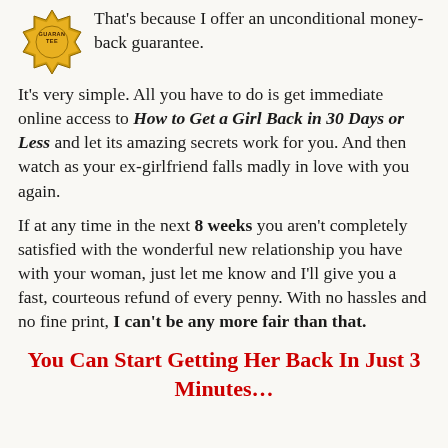[Figure (logo): Gold guarantee badge/seal with 'GUARANTEE' text]
That's because I offer an unconditional money-back guarantee.
It's very simple. All you have to do is get immediate online access to How to Get a Girl Back in 30 Days or Less and let its amazing secrets work for you. And then watch as your ex-girlfriend falls madly in love with you again.
If at any time in the next 8 weeks you aren't completely satisfied with the wonderful new relationship you have with your woman, just let me know and I'll give you a fast, courteous refund of every penny. With no hassles and no fine print, I can't be any more fair than that.
You Can Start Getting Her Back In Just 3 Minutes…